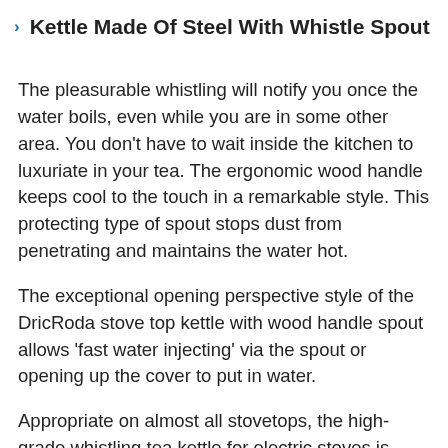Kettle Made Of Steel With Whistle Spout
The pleasurable whistling will notify you once the water boils, even while you are in some other area. You don't have to wait inside the kitchen to luxuriate in your tea. The ergonomic wood handle keeps cool to the touch in a remarkable style. This protecting type of spout stops dust from penetrating and maintains the water hot.
The exceptional opening perspective style of the DricRoda stove top kettle with wood handle spout allows 'fast water injecting' via the spout or opening up the cover to put in water.
Appropriate on almost all stovetops, the high-grade whistling tea kettle for electric stoves is suitable for just about any resource, including gas, electric, or induction. High grade to the most satisfactory industry standard, the five-layer base for rapid heat conduction will result in